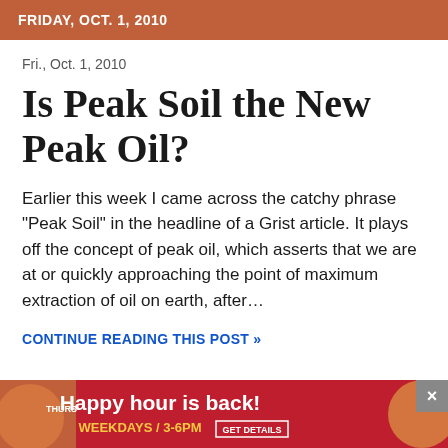FRIDAY, OCT. 1, 2010
Fri., Oct. 1, 2010
Is Peak Soil the New Peak Oil?
Earlier this week I came across the catchy phrase "Peak Soil" in the headline of a Grist article. It plays off the concept of peak oil, which asserts that we are at or quickly approaching the point of maximum extraction of oil on earth, after…
CONTINUE READING THIS POST »
[Figure (other): Advertisement banner: 'Happy hour is back! WEEKDAYS / 3-6PM GET DETAILS' with decorative circles on red background, close button (×) in top right corner]